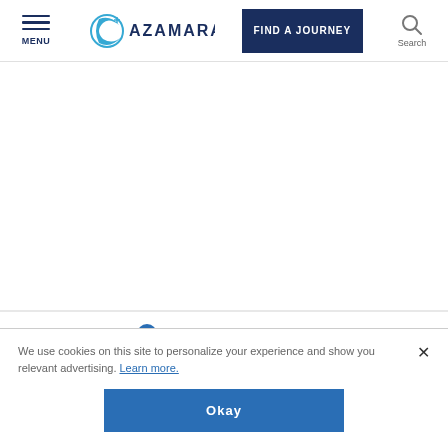MENU | Azamara | FIND A JOURNEY | Search
SIGHTSEEING
We use cookies on this site to personalize your experience and show you relevant advertising. Learn more.
Okay